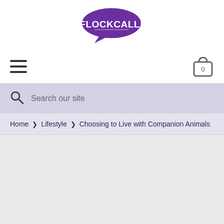[Figure (logo): FlockCall! logo — speech bubble shape in purple with white bold text 'FLOCKCALL!' inside]
[Figure (other): Hamburger menu icon (three horizontal lines) on the left and a shopping bag icon with '0' on the right]
Search our site
Home > Lifestyle > Choosing to Live with Companion Animals